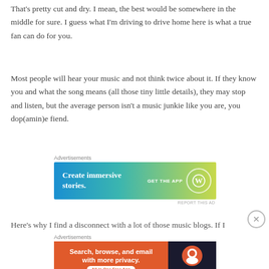That's pretty cut and dry. I mean, the best would be somewhere in the middle for sure. I guess what I'm driving to drive home here is what a true fan can do for you.
Most people will hear your music and not think twice about it. If they know you and what the song means (all those tiny little details), they may stop and listen, but the average person isn't a music junkie like you are, you dop(amin)e fiend.
[Figure (screenshot): WordPress advertisement banner: 'Create immersive stories. GET THE APP' with WordPress logo on blue-to-yellow gradient background]
Here's why I find a disconnect with a lot of those music blogs. If I
[Figure (screenshot): DuckDuckGo advertisement banner: 'Search, browse, and email with more privacy. All in One Free App' with DuckDuckGo logo on orange and dark background]